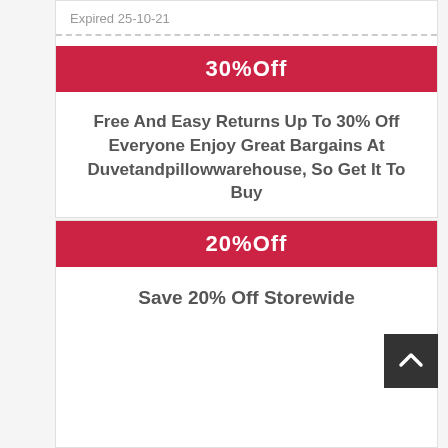Expired 25-10-21
30%Off
Free And Easy Returns Up To 30% Off Everyone Enjoy Great Bargains At Duvetandpillowwarehouse, So Get It To Buy
Expired 10-8-21
20%Off
Save 20% Off Storewide